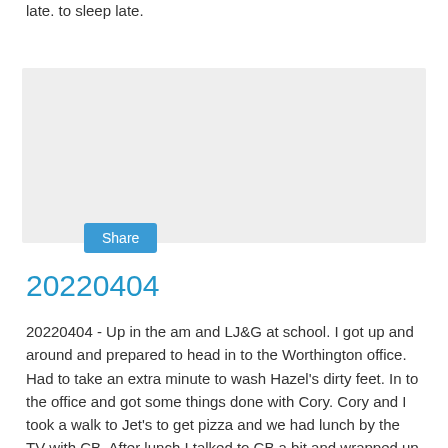late. to sleep late.
[Figure (other): Gray share box with a blue Share button]
20220404
20220404 - Up in the am and LJ&G at school. I got up and around and prepared to head in to the Worthington office. Had to take an extra minute to wash Hazel's dirty feet. In to the office and got some things done with Cory. Cory and I took a walk to Jet's to get pizza and we had lunch by the TV with CB. After lunch I talked to CB a bit and wrapped up some things. I headed out to go home and to get L and head to G's baseball game, but it was cancelled. I got the word out and then headed to the field to pick him up from practice. L told me it was over at 4:15, I got there on time and they finished at 5...  Got G and we got home. L made us some dinner and we ate together watching some TV. J at work